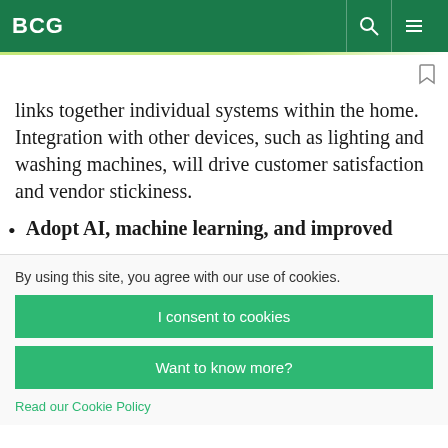BCG
links together individual systems within the home. Integration with other devices, such as lighting and washing machines, will drive customer satisfaction and vendor stickiness.
Adopt AI, machine learning, and improved
By using this site, you agree with our use of cookies.
I consent to cookies
Want to know more?
Read our Cookie Policy